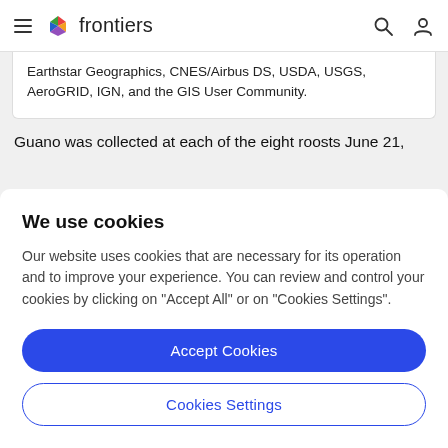frontiers
Earthstar Geographics, CNES/Airbus DS, USDA, USGS, AeroGRID, IGN, and the GIS User Community.
Guano was collected at each of the eight roosts June 21,
We use cookies
Our website uses cookies that are necessary for its operation and to improve your experience. You can review and control your cookies by clicking on "Accept All" or on "Cookies Settings".
Accept Cookies
Cookies Settings